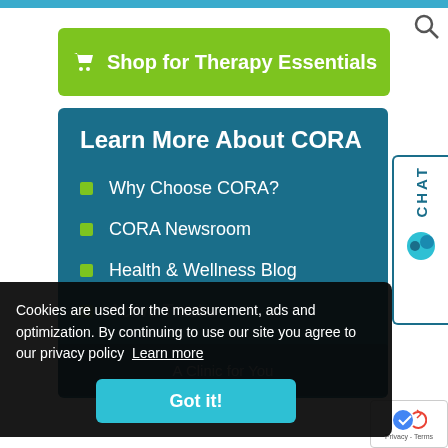[Figure (screenshot): Top blue navigation bar with search icon]
[Figure (screenshot): Green 'Shop for Therapy Essentials' button with shopping bag icon]
Learn More About CORA
Why Choose CORA?
CORA Newsroom
Health & Wellness Blog
Cookies are used for the measurement, ads and optimization. By continuing to use our site you agree to our privacy policy  Learn more
[Figure (screenshot): Got it! cookie consent button]